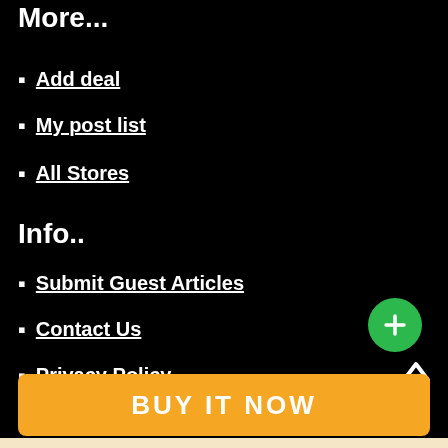More...
Add deal
My post list
All Stores
Info..
Submit Guest Articles
Contact Us
Privacy Policy
BUY IT NOW